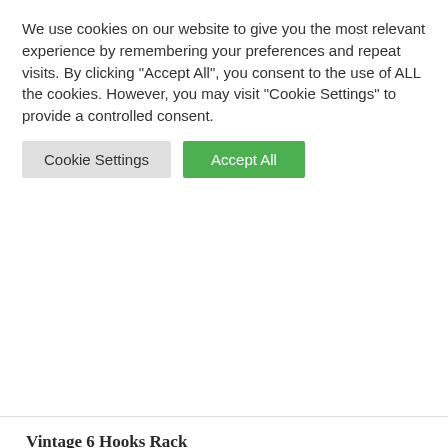We use cookies on our website to give you the most relevant experience by remembering your preferences and repeat visits. By clicking "Accept All", you consent to the use of ALL the cookies. However, you may visit "Cookie Settings" to provide a controlled consent.
Cookie Settings | Accept All
Vintage 6 Hooks Rack Wooden 80cm Wall Coat Hanger
£38.99
Or Pay In 3 interest-free instalments of £13.00 with Klarna.
Product ID: 9120012    Free UK Mainland Delivery*
80cm Vintage Style 6 Cast Iron Hooks Rack Wooden Wall Mounted Coat Hanger is inspired by old schoolhouse coat hangers. Multiuse rack with four cast